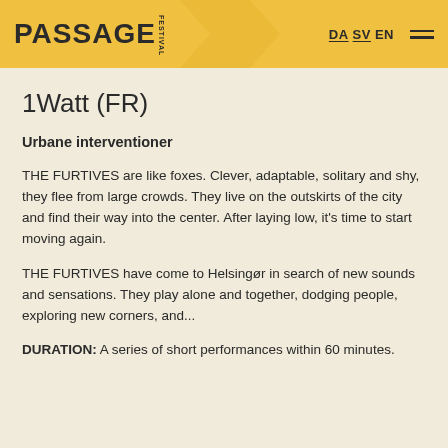PASSAGE FESTIVAL — DA SV EN
1Watt (FR)
Urbane interventioner
THE FURTIVES are like foxes. Clever, adaptable, solitary and shy, they flee from large crowds. They live on the outskirts of the city and find their way into the center. After laying low, it's time to start moving again.
THE FURTIVES have come to Helsingør in search of new sounds and sensations. They play alone and together, dodging people, exploring new corners, and...
DURATION: A series of short performances within 60 minutes.